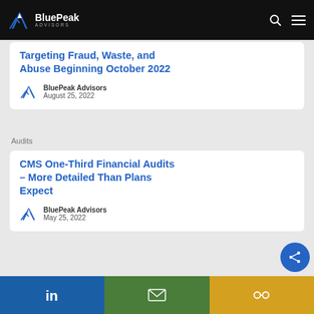BluePeak Advisors
Targeting Fraud, Waste, and Abuse Beginning October 2022
BluePeak Advisors
August 25, 2022
Audits
CMS One-Third Financial Audits – More Detailed Than Plans Expect
BluePeak Advisors
May 25, 2022